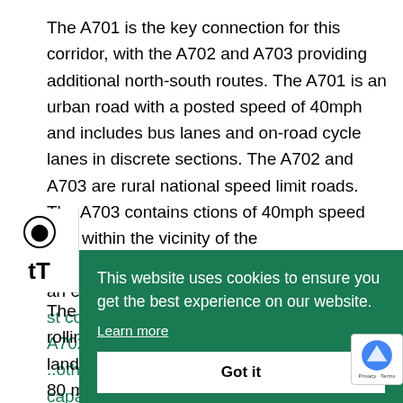The A701 is the key connection for this corridor, with the A702 and A703 providing additional north-south routes. The A701 is an urban road with a posted speed of 40mph and includes bus lanes and on-road cycle lanes in discrete sections. The A702 and A703 are rural national speed limit roads. The A703 contains sections of 40mph speed limit within the vicinity of the scheme. In addition, Pentland Road provides an east-west connection between the A701 and A702/A703. Both the A701 and A702 roads currently have capacity problems.
This website uses cookies to ensure you get the best experience on our website. Learn more
Got it
The area under consideration consists of the rolling landscapes with ground levels rising roughly 80 metres